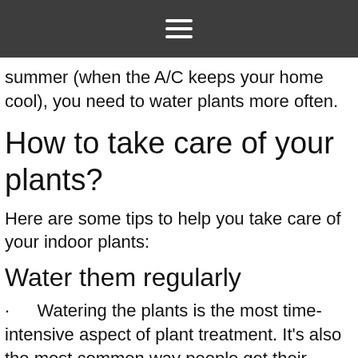≡
summer (when the A/C keeps your home cool), you need to water plants more often.
How to take care of your plants?
Here are some tips to help you take care of your indoor plants:
Water them regularly
Watering the plants is the most time-intensive aspect of plant treatment. It's also the most common way people get their plants killed.
It will dry out and die if you don't water your plant well enough.